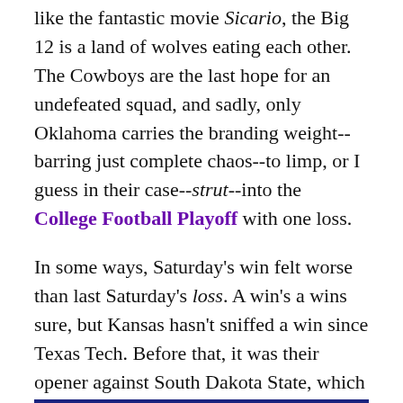like the fantastic movie Sicario, the Big 12 is a land of wolves eating each other. The Cowboys are the last hope for an undefeated squad, and sadly, only Oklahoma carries the branding weight--barring just complete chaos--to limp, or I guess in their case--strut--into the College Football Playoff with one loss.
In some ways, Saturday's win felt worse than last Saturday's loss. A win's a wins sure, but Kansas hasn't sniffed a win since Texas Tech. Before that, it was their opener against South Dakota State, which they, you know, lost. Yet, with a little help, TCU can still fulfill its own destiny. If the Committee and their not-so-infinite wisdom in a pool of awkward subjectivity and ambiguity have taught us anything, it's not who beats you, it's who you beat.